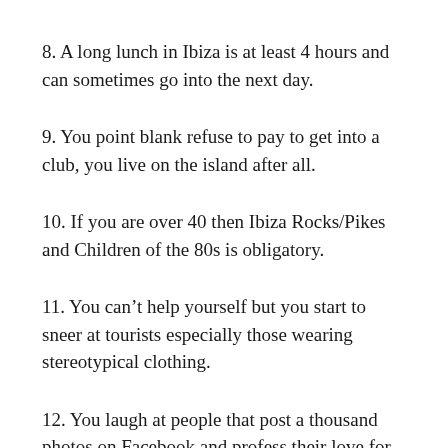8. A long lunch in Ibiza is at least 4 hours and can sometimes go into the next day.
9. You point blank refuse to pay to get into a club, you live on the island after all.
10. If you are over 40 then Ibiza Rocks/Pikes and Children of the 80s is obligatory.
11. You can't help yourself but you start to sneer at tourists especially those wearing stereotypical clothing.
12. You laugh at people that post a thousand photos on Facebook and profess their love for